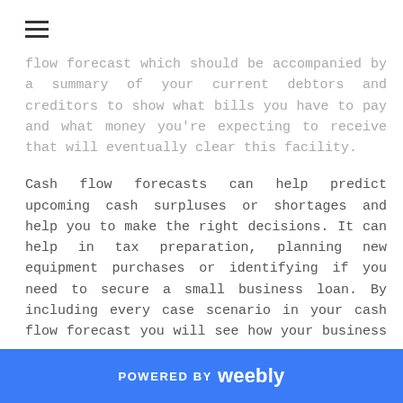≡
flow forecast which should be accompanied by a summary of your current debtors and creditors to show what bills you have to pay and what money you're expecting to receive that will eventually clear this facility.

Cash flow forecasts can help predict upcoming cash surpluses or shortages and help you to make the right decisions. It can help in tax preparation, planning new equipment purchases or identifying if you need to secure a small business loan. By including every case scenario in your cash flow forecast you will see how your business will cope if you hit tough times or do better than
POWERED BY weebly